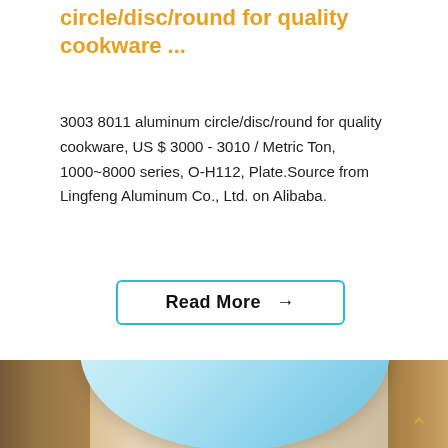circle/disc/round for quality cookware ...
3003 8011 aluminum circle/disc/round for quality cookware, US $ 3000 - 3010 / Metric Ton, 1000~8000 series, O-H112, Plate.Source from Lingfeng Aluminum Co., Ltd. on Alibaba.
[Figure (other): Button/link styled element reading 'Read More →' with cyan/teal border and rounded corners]
[Figure (photo): Photo of stacked aluminum disc/circle sheets with light blue protective film on top, surrounded by cardboard packaging boxes in a warehouse setting]